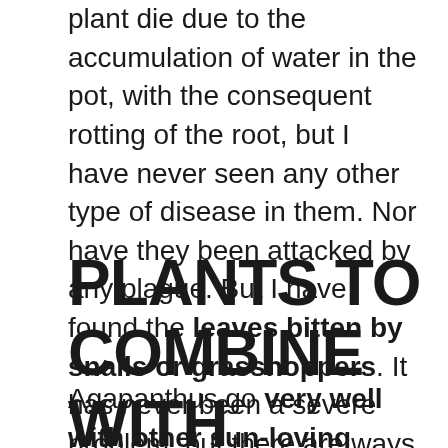plant die due to the accumulation of water in the pot, with the consequent rotting of the root, but I have never seen any other type of disease in them. Nor have they been attacked by any plague. But I have found the leaves bitten by snails or grasshoppers. It has never been a severe problem, but there are ways to keep them out if it is.
PLANTS TO COMBINE WITH AGAPANTHUS
Agapanthus go very well with other sun-loving plants. They are very decorative, both alone and with others, and they look fantastic in a tropical-style garden. On an